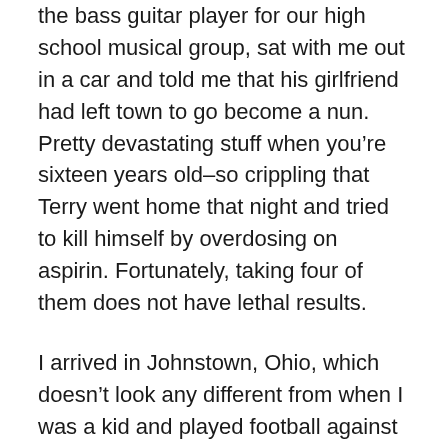the bass guitar player for our high school musical group, sat with me out in a car and told me that his girlfriend had left town to go become a nun. Pretty devastating stuff when you're sixteen years old–so crippling that Terry went home that night and tried to kill himself by overdosing on aspirin. Fortunately, taking four of them does not have lethal results.
I arrived in Johnstown, Ohio, which doesn't look any different from when I was a kid and played football against their team. I remember the game, because it was the only time in my brief gridiron career that I intercepted a pass. Linebackers don't get to do that very often. And I must clarify this by telling you that it was NOT a great feat of athleticism. The quarterback of the other team was so frightened of me running in to tackle him that he threw the ball right at my chest, and somehow I ended up on the